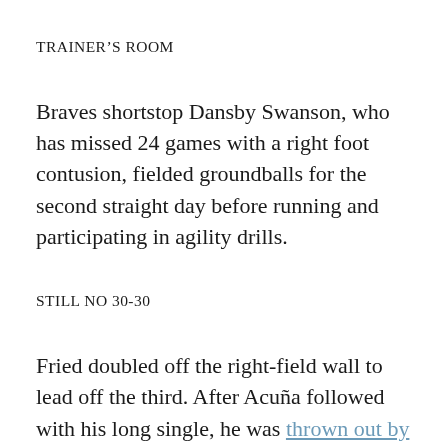TRAINER'S ROOM
Braves shortstop Dansby Swanson, who has missed 24 games with a right foot contusion, fielded groundballs for the second straight day before running and participating in agility drills.
STILL NO 30-30
Fried doubled off the right-field wall to lead off the third. After Acuña followed with his long single, he was thrown out by rookie catcher Will